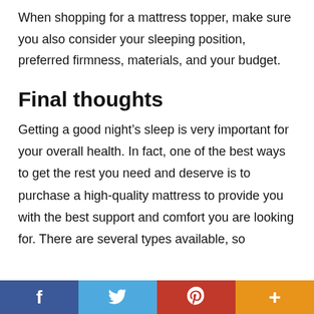When shopping for a mattress topper, make sure you also consider your sleeping position, preferred firmness, materials, and your budget.
Final thoughts
Getting a good night’s sleep is very important for your overall health. In fact, one of the best ways to get the rest you need and deserve is to purchase a high-quality mattress to provide you with the best support and comfort you are looking for. There are several types available, so
f      +